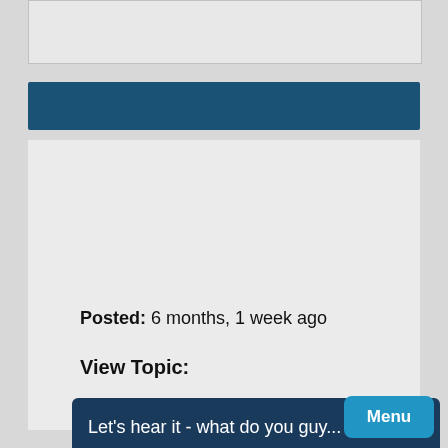[Figure (screenshot): Top image strip showing a partial screenshot or banner image area]
[Figure (screenshot): Dark blue header bar]
Posted:  6 months, 1 week ago
View Topic:
Let's hear it - what do you guy...
Audrey. If you read what I said, Ive been trying to keep my daughter isolated since before covid happened. That's on us ( my wife and I), didn't say anything about others. I also said both vaccinated and